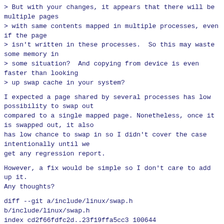> But with your changes, it appears that there will be multiple pages
> with same contents mapped in multiple processes, even if the page
> isn't written in these processes.  So this may waste some memory in
> some situation?  And copying from device is even faster than looking
> up swap cache in your system?
I expected a page shared by several processes has low possibility to swap out
compared to a single mapped page. Nonetheless, once it is swapped out, it also
has low chance to swap in so I didn't cover the case intentionally until we
get any regression report.
However, a fix would be simple so I don't care to add up it.
Any thoughts?
diff --git a/include/linux/swap.h b/include/linux/swap.h
index cd2f66fdfc2d..23f19ffa5cc3 100644
--- a/include/linux/swap.h
+++ b/include/linux/swap.h
@@ -458,6 +458,7 @@ extern unsigned int count_swap_pages(int, int);
 extern sector_t map_swap_page(struct page *, struct